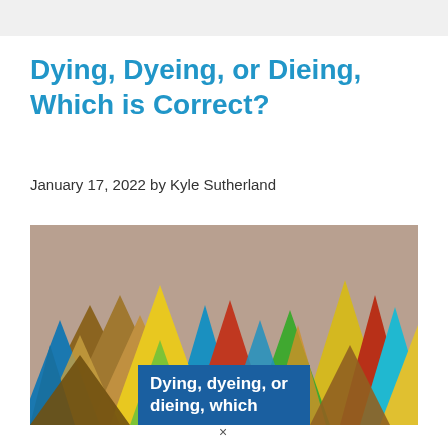Dying, Dyeing, or Dieing, Which is Correct?
January 17, 2022 by Kyle Sutherland
[Figure (photo): Colorful mounds of dye powder photographed from above, with an overlay text box reading 'Dying, dyeing, or dieing, which']